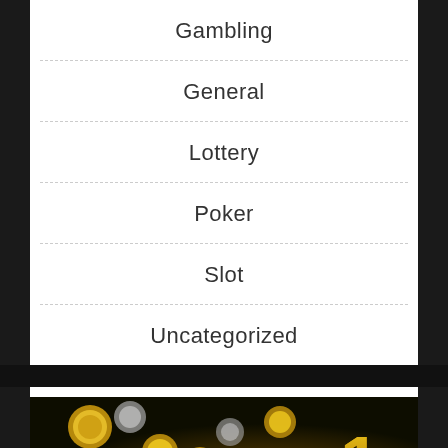Gambling
General
Lottery
Poker
Slot
Uncategorized
[Figure (photo): Dark background image with gold and silver coins scattered, with a large gold number '1' visible in the lower right area, appearing to be a gambling/casino themed promotional image]